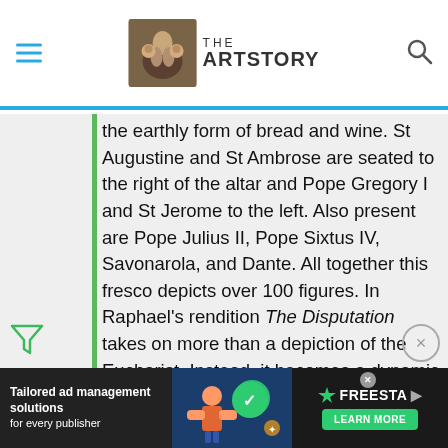THE ARTSTORY
the earthly form of bread and wine. St Augustine and St Ambrose are seated to the right of the altar and Pope Gregory I and St Jerome to the left. Also present are Pope Julius II, Pope Sixtus IV, Savonarola, and Dante. All together this fresco depicts over 100 figures. In Raphael's rendition The Disputation takes on more than a depiction of the Eucharist. Instead, it becomes a dynamic search by theologians for the truth embodied in the mystery of the Eucharist.
This fresco, painted when Raphael was only 27 years old, represents his first significant commission to redecorate what were to become
[Figure (infographic): Advertisement banner: Tailored ad management solutions for every publisher. Freesta logo with illustration. Learn More button.]